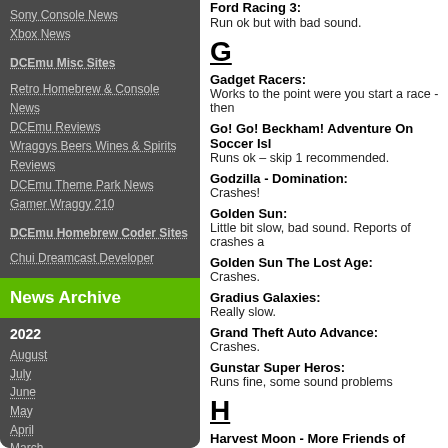Sony Console News
Xbox News
DCEmu Misc Sites
Retro Homebrew & Console News
DCEmu Reviews
Wraggys Beers Wines & Spirits Reviews
DCEmu Theme Park News
Gamer Wraggy 210
DCEmu Homebrew Coder Sites
Chui Dreamcast Developer
News Archive
2022
August
July
June
May
April
March
February
January
G
Ford Racing 3:
Run ok but with bad sound.
Gadget Racers:
Works to the point were you start a race - then
Go! Go! Beckham! Adventure On Soccer Isl
Runs ok – skip 1 recommended.
Godzilla - Domination:
Crashes!
Golden Sun:
Little bit slow, bad sound. Reports of crashes a
Golden Sun The Lost Age:
Crashes.
Gradius Galaxies:
Really slow.
Grand Theft Auto Advance:
Crashes.
Gunstar Super Heros:
Runs fine, some sound problems
H
Harvest Moon - More Friends of Mineral Tow
Perfect!
I
International Karate Advance:
Runs ok, choppy though.
Iridion 3D: